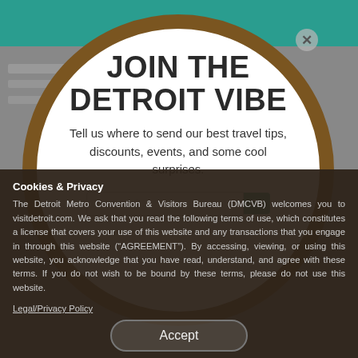[Figure (screenshot): Blurred background of visitdetroit.com website with teal header bar]
JOIN THE DETROIT VIBE
Tell us where to send our best travel tips, discounts, events, and some cool surprises.
Cookies & Privacy
The Detroit Metro Convention & Visitors Bureau (DMCVB) welcomes you to visitdetroit.com. We ask that you read the following terms of use, which constitutes a license that covers your use of this website and any transactions that you engage in through this website (“AGREEMENT”). By accessing, viewing, or using this website, you acknowledge that you have read, understand, and agree with these terms. If you do not wish to be bound by these terms, please do not use this website.
Legal/Privacy Policy
Accept